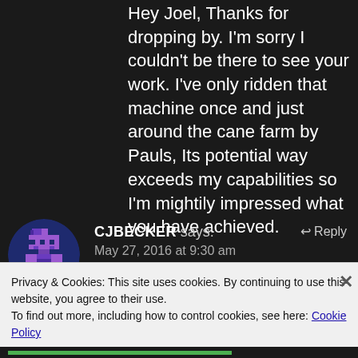Hey Joel, Thanks for dropping by. I'm sorry I couldn't be there to see your work. I've only ridden that machine once and just around the cane farm by Pauls, Its potential way exceeds my capabilities so I'm mightily impressed what you have achieved.
[Figure (illustration): Pixel art avatar in a circle: purple/dark blue pixelated character on dark blue background]
CJBECKER says:
May 27, 2016 at 9:30 am
↩ Reply
Privacy & Cookies: This site uses cookies. By continuing to use this website, you agree to their use.
To find out more, including how to control cookies, see here: Cookie Policy
Close and accept